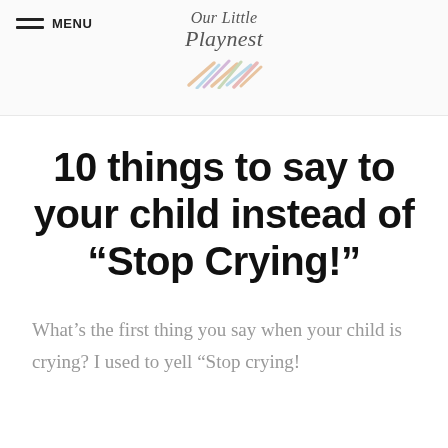MENU | Our Little Playnest
10 things to say to your child instead of “Stop Crying!”
What’s the first thing you say when your child is crying? I used to yell “Stop crying!